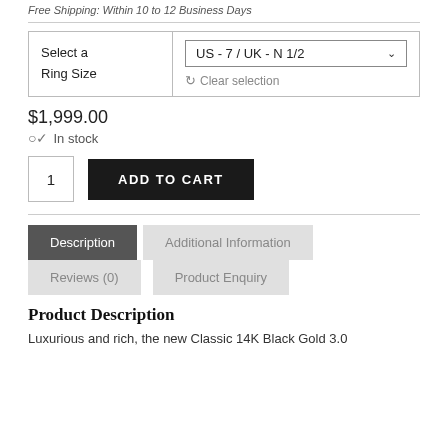Free Shipping: Within 10 to 12 Business Days
| Select a Ring Size | US - 7 / UK - N 1/2 | Clear selection |
| --- | --- |
$1,999.00
In stock
1   ADD TO CART
Description   Additional Information   Reviews (0)   Product Enquiry
Product Description
Luxurious and rich, the new Classic 14K Black Gold 3.0